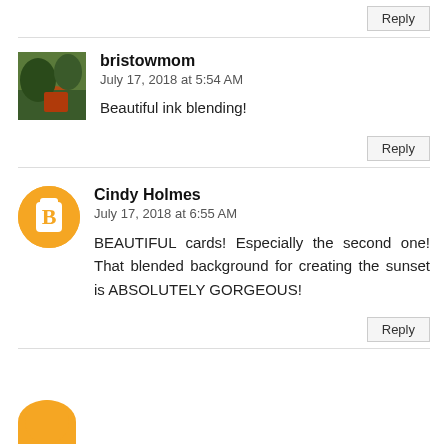Reply
[Figure (photo): Small square avatar photo showing trees and orange structure outdoors]
bristowmom
July 17, 2018 at 5:54 AM
Beautiful ink blending!
Reply
[Figure (illustration): Orange circle avatar with white Blogger 'B' icon]
Cindy Holmes
July 17, 2018 at 6:55 AM
BEAUTIFUL cards! Especially the second one! That blended background for creating the sunset is ABSOLUTELY GORGEOUS!
Reply
[Figure (illustration): Orange circle avatar partially visible at bottom of page]